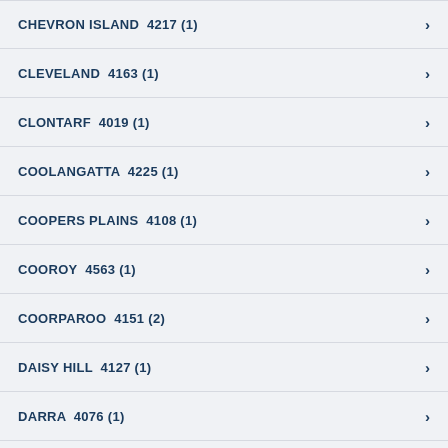CHEVRON ISLAND  4217 (1)
CLEVELAND  4163 (1)
CLONTARF  4019 (1)
COOLANGATTA  4225 (1)
COOPERS PLAINS  4108 (1)
COOROY  4563 (1)
COORPAROO  4151 (2)
DAISY HILL  4127 (1)
DARRA  4076 (1)